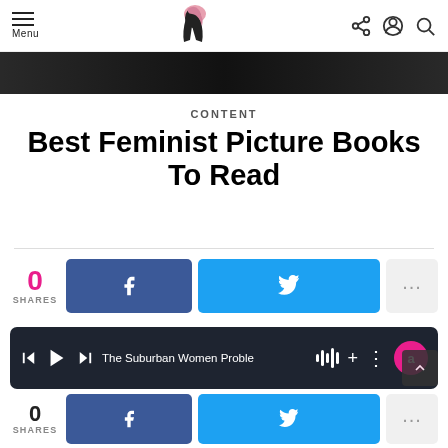Menu | [logo] | share account search
[Figure (photo): Dark hero image strip at top of article]
CONTENT
Best Feminist Picture Books To Read
0 SHARES — Facebook share button, Twitter share button, more (…)
The Suburban Women Proble — podcast player bar
0 SHARES — Facebook share button, Twitter share button, more (…)